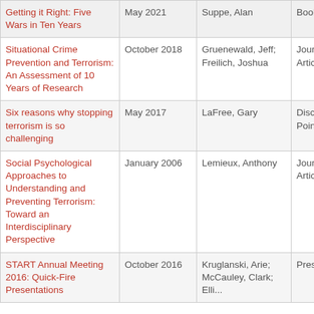| Title | Date | Author | Type |
| --- | --- | --- | --- |
| Getting it Right: Five Wars in Ten Years | May 2021 | Suppe, Alan | Book |
| Situational Crime Prevention and Terrorism: An Assessment of 10 Years of Research | October 2018 | Gruenewald, Jeff; Freilich, Joshua | Journal Article |
| Six reasons why stopping terrorism is so challenging | May 2017 | LaFree, Gary | Discussion Point |
| Social Psychological Approaches to Understanding and Preventing Terrorism: Toward an Interdisciplinary Perspective | January 2006 | Lemieux, Anthony | Journal Article |
| START Annual Meeting 2016: Quick-Fire Presentations | October 2016 | Kruglanski, Arie; McCauley, Clark; Ellis... | Presentation |